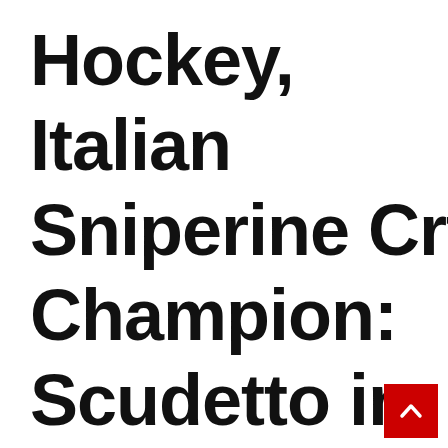Hockey, Italian Sniperine Crt Champion: Scudetto in Civitavecchia